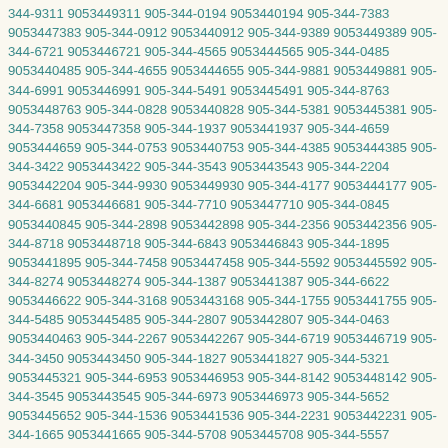344-9311 9053449311 905-344-0194 9053440194 905-344-7383 9053447383 905-344-0912 9053440912 905-344-9389 9053449389 905-344-6721 9053446721 905-344-4565 9053444565 905-344-0485 9053440485 905-344-4655 9053444655 905-344-9881 9053449881 905-344-6991 9053446991 905-344-5491 9053445491 905-344-8763 9053448763 905-344-0828 9053440828 905-344-5381 9053445381 905-344-7358 9053447358 905-344-1937 9053441937 905-344-4659 9053444659 905-344-0753 9053440753 905-344-4385 9053444385 905-344-3422 9053443422 905-344-3543 9053443543 905-344-2204 9053442204 905-344-9930 9053449930 905-344-4177 9053444177 905-344-6681 9053446681 905-344-7710 9053447710 905-344-0845 9053440845 905-344-2898 9053442898 905-344-2356 9053442356 905-344-8718 9053448718 905-344-6843 9053446843 905-344-1895 9053441895 905-344-7458 9053447458 905-344-5592 9053445592 905-344-8274 9053448274 905-344-1387 9053441387 905-344-6622 9053446622 905-344-3168 9053443168 905-344-1755 9053441755 905-344-5485 9053445485 905-344-2807 9053442807 905-344-0463 9053440463 905-344-2267 9053442267 905-344-6719 9053446719 905-344-3450 9053443450 905-344-1827 9053441827 905-344-5321 9053445321 905-344-6953 9053446953 905-344-8142 9053448142 905-344-3545 9053443545 905-344-6973 9053446973 905-344-5652 9053445652 905-344-1536 9053441536 905-344-2231 9053442231 905-344-1665 9053441665 905-344-5708 9053445708 905-344-5557 9053445557 905-344-3793 9053443793 905-344-9835 9053449835 905-344-7237 9053447237 905-344-5898 9053445898 905-344-0092 9053440092 905-344-1711 9053441711 905-344-1392 9053441392 905-